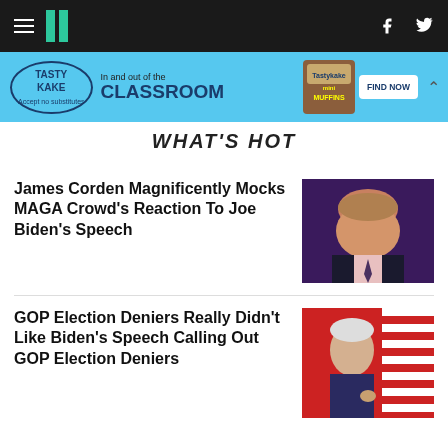HuffPost navigation bar with hamburger menu, logo, Facebook and Twitter icons
[Figure (photo): Tastykake advertisement banner: 'In and out of the CLASSROOM' with mini muffins image and FIND NOW button on blue background]
WHAT'S HOT
James Corden Magnificently Mocks MAGA Crowd's Reaction To Joe Biden's Speech
[Figure (photo): Photo of James Corden on a talk show set with purple background]
GOP Election Deniers Really Didn't Like Biden's Speech Calling Out GOP Election Deniers
[Figure (photo): Photo of Joe Biden speaking at a podium with American flags in the background]